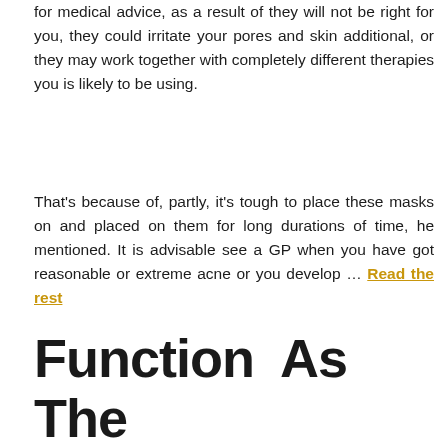for medical advice, as a result of they will not be right for you, they could irritate your pores and skin additional, or they may work together with completely different therapies you is likely to be using.
That's because of, partly, it's tough to place these masks on and placed on them for long durations of time, he mentioned. It is advisable see a GP when you have got reasonable or extreme acne or you develop … Read the rest
Function As The